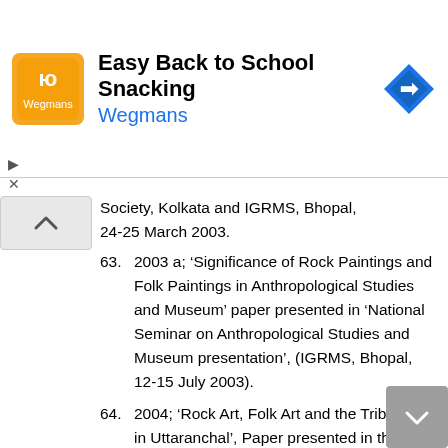[Figure (screenshot): Advertisement banner for 'Easy Back to School Snacking' by Wegmans, with orange logo on left and a blue navigation/direction icon on the right.]
Society, Kolkata and IGRMS, Bhopal, 24-25 March 2003.
63. 2003 a; 'Significance of Rock Paintings and Folk Paintings in Anthropological Studies and Museum' paper presented in 'National Seminar on Anthropological Studies and Museum presentation', (IGRMS, Bhopal, 12-15 July 2003).
64. 2004; 'Rock Art, Folk Art and the Tribal Art in Uttaranchal', Paper presented in the International Seminar an Indigenous Arts, Organised by the Asiatic Society, Kolkata, 7-8 Dec. 2004.